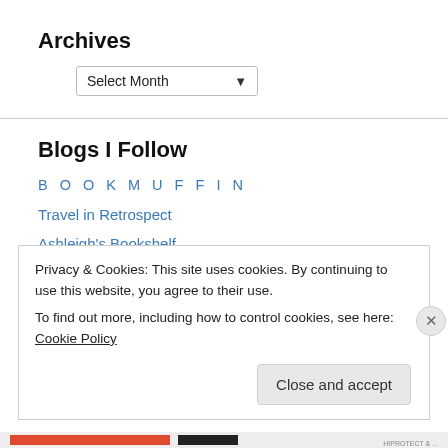Archives
Select Month
Blogs I Follow
B O O K M U F F I N
Travel in Retrospect
Ashleigh's Bookshelf
The Fictional Reader
A Well Read Woman
River City Reading
Privacy & Cookies: This site uses cookies. By continuing to use this website, you agree to their use.
To find out more, including how to control cookies, see here: Cookie Policy
Close and accept